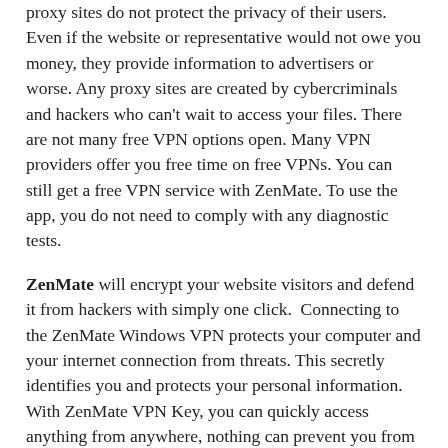proxy sites do not protect the privacy of their users. Even if the website or representative would not owe you money, they provide information to advertisers or worse. Any proxy sites are created by cybercriminals and hackers who can't wait to access your files. There are not many free VPN options open. Many VPN providers offer you free time on free VPNs. You can still get a free VPN service with ZenMate. To use the app, you do not need to comply with any diagnostic tests.
ZenMate will encrypt your website visitors and defend it from hackers with simply one click.  Connecting to the ZenMate Windows VPN protects your computer and your internet connection from threats. This secretly identifies you and protects your personal information. With ZenMate VPN Key, you can quickly access anything from anywhere, nothing can prevent you from browsing securely. Whether you miss your favorite programs or